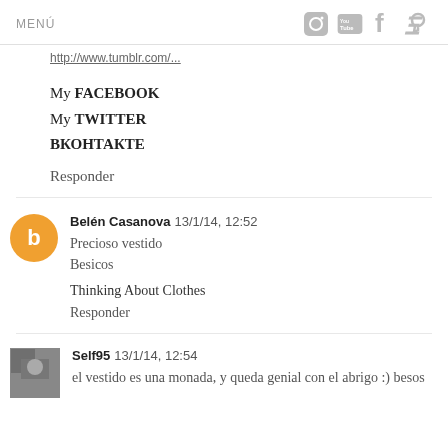MENÚ
http://www.tumblr.com...
My FACEBOOK
My TWITTER
ВКОНТАКТЕ
Responder
Belén Casanova  13/1/14, 12:52
Precioso vestido
Besicos

Thinking About Clothes

Responder
Self95  13/1/14, 12:54
el vestido es una monada, y queda genial con el abrigo :) besos